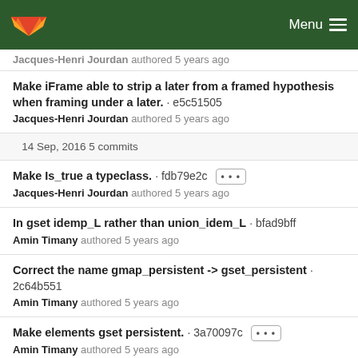GitLab Menu
Jacques-Henri Jourdan authored 5 years ago
Make iFrame able to strip a later from a framed hypothesis when framing under a later. · e5c51505
Jacques-Henri Jourdan authored 5 years ago
14 Sep, 2016 5 commits
Make Is_true a typeclass. · fdb79e2c [...]
Jacques-Henri Jourdan authored 5 years ago
In gset idemp_L rather than union_idem_L · bfad9bff
Amin Timany authored 5 years ago
Correct the name gmap_persistent -> gset_persistent · 2c64b551
Amin Timany authored 5 years ago
Make elements gset persistent. · 3a70097c [...]
Amin Timany authored 5 years ago